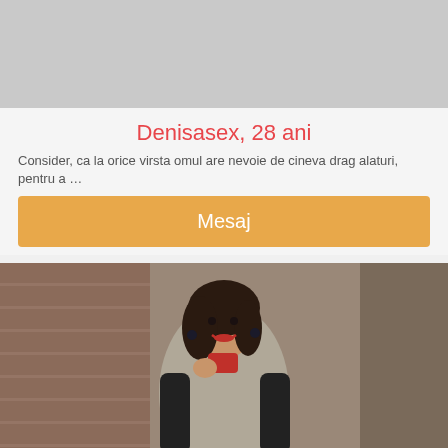[Figure (photo): Gray placeholder rectangle for a profile photo]
Denisasex, 28 ani
Consider, ca la orice virsta omul are nevoie de cineva drag alaturi, pentru a …
Mesaj
[Figure (photo): Photo of a young woman with dark hair wearing a gray fur vest over a black top and red skirt, standing in front of a brick wall]
Deschisex, 22 ani